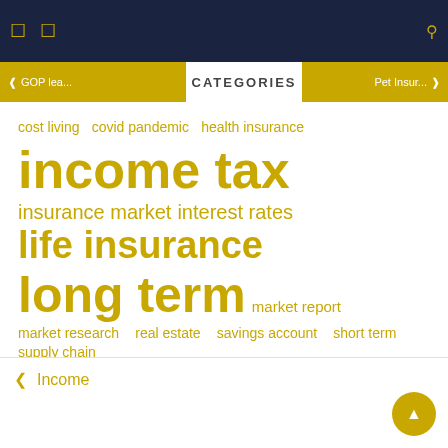Navigation bar with menu icons and search
CATEGORIES
cost living  covid pandemic  health insurance  income tax  insurance market  interest rates  life insurance  long term  market report  market research  real estate  savings account  short term  supply chain  united states
Income